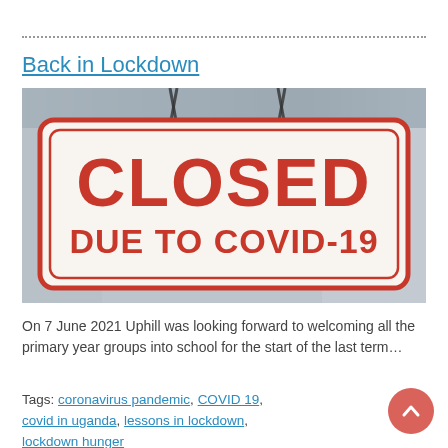Back in Lockdown
[Figure (photo): A white rectangular sign with red border and red bold text reading 'CLOSED DUE TO COVID-19', hanging by chains against a blurred background.]
On 7 June 2021 Uphill was looking forward to welcoming all the primary year groups into school for the start of the last term…
Tags: coronavirus pandemic, COVID 19, covid in uganda, lessons in lockdown, lockdown hunger